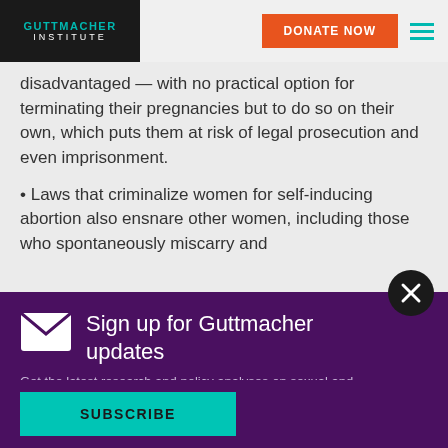GUTTMACHER INSTITUTE | DONATE NOW
disadvantaged — with no practical option for terminating their pregnancies but to do so on their own, which puts them at risk of legal prosecution and even imprisonment.
Laws that criminalize women for self-inducing abortion also ensnare other women, including those who spontaneously miscarry and
Sign up for Guttmacher updates
Get the latest research and policy analyses on sexual and reproductive health and rights around the world.
SUBSCRIBE